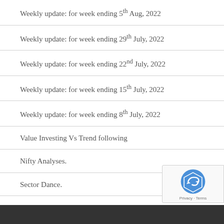Weekly update: for week ending 5th Aug, 2022
Weekly update: for week ending 29th July, 2022
Weekly update: for week ending 22nd July, 2022
Weekly update: for week ending 15th July, 2022
Weekly update: for week ending 8th July, 2022
Value Investing Vs Trend following
Nifty Analyses.
Sector Dance.
Privacy · Terms